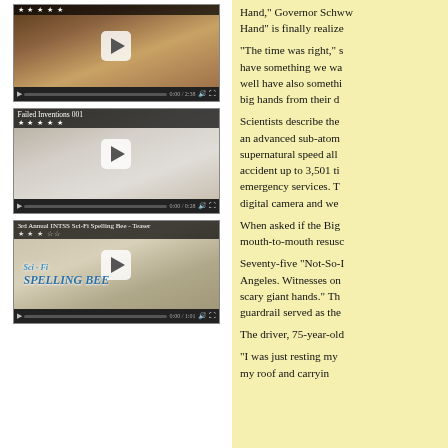[Figure (screenshot): Video thumbnail 1: elderly people at a gathering, with play button overlay and video controls]
[Figure (screenshot): Video thumbnail 2 titled 'Failed Inventions 001' with stars rating, showing a door scene, play button overlay and video controls]
[Figure (screenshot): Video thumbnail 3 titled '3rd Annual INTSS Sci-Fi Spelling Bee - Teaser' with Sci-Fi Spelling Bee text, play button overlay and video controls]
Hand," Governor Schww... Hand" is finally realize...
"The time was right," s... have something we wa... well have also somethi... big hands from their d...
Scientists describe the... an advanced sub-atom... supernatural speed all... accident up to 3,501 ti... emergency services. T... digital camera and we...
When asked if the Big ... mouth-to-mouth resusc...
Seventy-five "Not-So-I... Angeles. Witnesses on ... scary giant hands." Th... guardrail served as the...
The driver, 75-year-old...
"I was just resting my ... my roof and carryin...